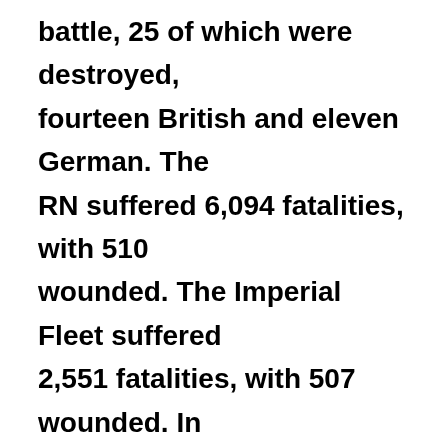battle, 25 of which were destroyed, fourteen British and eleven German. The RN suffered 6,094 fatalities, with 510 wounded. The Imperial Fleet suffered 2,551 fatalities, with 507 wounded. In addition to the ships already mentioned, a third battlecruiser, Invincible was also lost to the British, as well as three armoured cruisers (Black Prince, Defence and Warrior), and eight destroyers. The